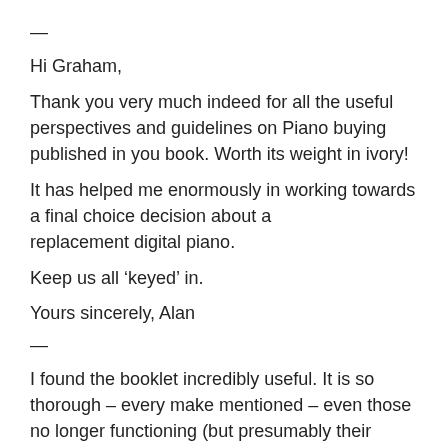—
Hi Graham,
Thank you very much indeed for all the useful perspectives and guidelines on Piano buying published in you book. Worth its weight in ivory!
It has helped me enormously in working towards a final choice decision about a replacement digital piano.
Keep us all ‘keyed’ in.
Yours sincerely, Alan
—
I found the booklet incredibly useful. It is so thorough – every make mentioned – even those no longer functioning (but presumably their models still extent and in use!) ; every technical term fully explained; and the ranking orders in all sorts of categories are outstanding.... Truly you are a pianoholic! I can go on ad infinitum but that would defeat the object of a clear and unambiguous eulogy of all that you put